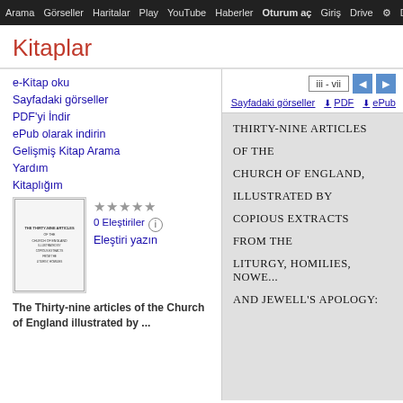Arama  Görseller  Haritalar  Play  YouTube  Haberler  Oturum aç  Drive  Da...
Kitaplar
e-Kitap oku
Sayfadaki görseller
PDF'yi İndir
ePub olarak indirin
Gelişmiş Kitap Arama
Yardım
Kitaplığım
[Figure (screenshot): Book cover thumbnail for The Thirty-nine articles of the Church of England illustrated by...]
0 Eleştiriler  Eleştiri yazın
The Thirty-nine articles of the Church of England illustrated by ...
iii - vii
Sayfadaki görseller  ⬇ PDF  ⬇ ePub
THIRTY-NINE ARTICLES

OF THE

CHURCH OF ENGLAND,

ILLUSTRATED BY

COPIOUS EXTRACTS

FROM THE

LITURGY, HOMILIES, NOWE...
AND JEWELL'S APOLOGY: